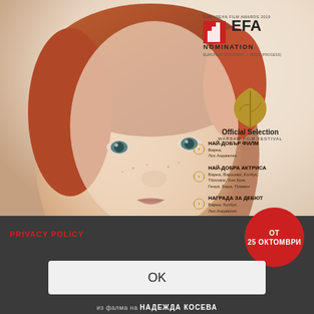[Figure (photo): Movie poster showing a close-up of a young red-haired woman with green eyes and freckles against a light background. Top-right corner has EFA (European Film Awards 2019) nomination logo, Warsaw Film Festival Official Selection laurel with leaf icon, and four award laurels in Bulgarian text: НАЙ-ДОБЪР ФИЛМ (Best Film), НАЙ-ДОБРА АКТРИСА (Best Actress), НАГРАДА ЗА ДЕБЮТ (Best Debut), НАГРАДА НА ПУБЛИКАТА (Audience Award).]
PRIVACY POLICY
ОТ 25 ОКТОМВРИ
OK
из фалма на НАДЕЖДА КОСЕВА